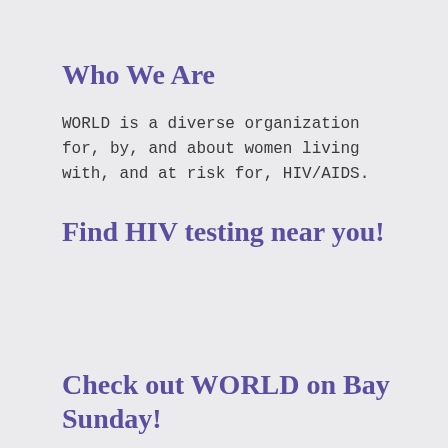Who We Are
WORLD is a diverse organization for, by, and about women living with, and at risk for, HIV/AIDS.
Find HIV testing near you!
Check out WORLD on Bay Sunday!